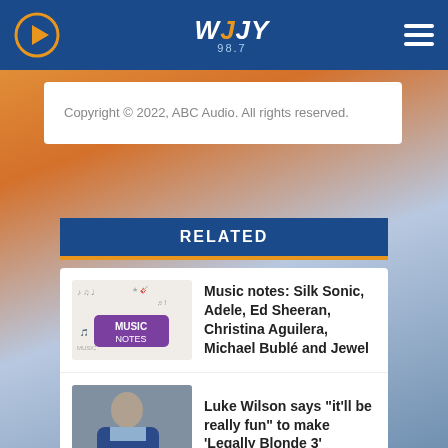WJJY Radio Station navigation bar with play button, WJJY logo, and hamburger menu
Copyright © 2022, ABC Audio. All rights reserved.
RELATED
Music notes: Silk Sonic, Adele, Ed Sheeran, Christina Aguilera, Michael Bublé and Jewel
Luke Wilson says "it'll be really fun" to make 'Legally Blonde 3'